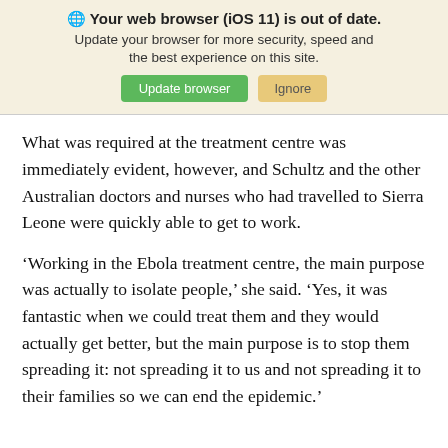[Figure (screenshot): Browser update banner with globe icon, bold warning title 'Your web browser (iOS 11) is out of date.', subtitle text, and two buttons: green 'Update browser' and tan 'Ignore']
What was required at the treatment centre was immediately evident, however, and Schultz and the other Australian doctors and nurses who had travelled to Sierra Leone were quickly able to get to work.
‘Working in the Ebola treatment centre, the main purpose was actually to isolate people,’ she said. ‘Yes, it was fantastic when we could treat them and they would actually get better, but the main purpose is to stop them spreading it: not spreading it to us and not spreading it to their families so we can end the epidemic.’